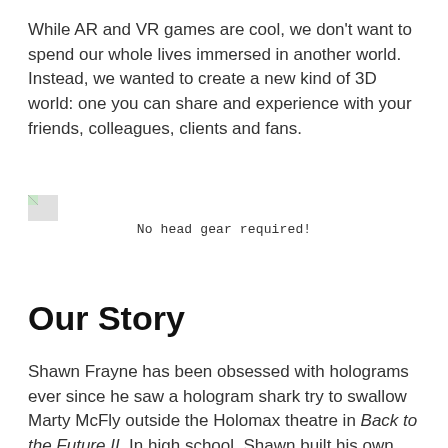While AR and VR games are cool, we don't want to spend our whole lives immersed in another world. Instead, we wanted to create a new kind of 3D world: one you can share and experience with your friends, colleagues, clients and fans.
[Figure (other): Broken image placeholder (small icon with green/blue corner)]
No head gear required!
Our Story
Shawn Frayne has been obsessed with holograms ever since he saw a hologram shark try to swallow Marty McFly outside the Holomax theatre in Back to the Future II. In high school, Shawn built his own laser-based holographic images in his